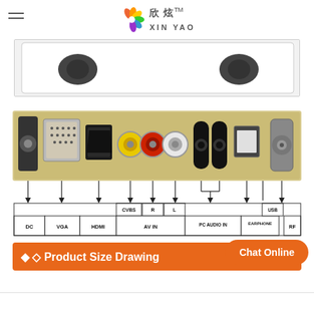[Figure (logo): XIN YAO brand logo with colorful flower and Chinese characters]
[Figure (photo): Partial cropped photo of a monitor showing top black frame]
[Figure (schematic): Connector diagram showing ports: DC, VGA, HDMI, AV IN (CVBS, R, L), PC AUDIO IN, EARPHONE, USB, RF with labeled photo of actual connectors and line-connected label boxes]
♦ ◇ Product Size Drawing
Chat Online